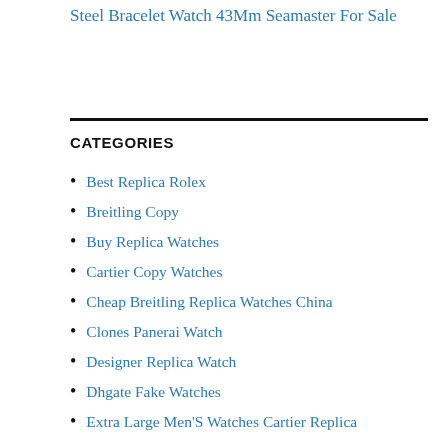Steel Bracelet Watch 43Mm Seamaster For Sale
CATEGORIES
Best Replica Rolex
Breitling Copy
Buy Replica Watches
Cartier Copy Watches
Cheap Breitling Replica Watches China
Clones Panerai Watch
Designer Replica Watch
Dhgate Fake Watches
Extra Large Men'S Watches Cartier Replica